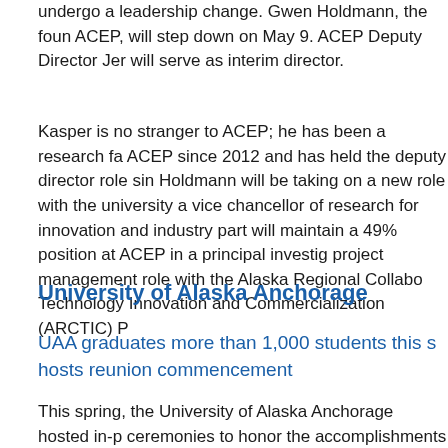undergo a leadership change. Gwen Holdmann, the founder of ACEP, will step down on May 9. ACEP Deputy Director Jen will serve as interim director.
Kasper is no stranger to ACEP; he has been a research faculty at ACEP since 2012 and has held the deputy director role since. Holdmann will be taking on a new role with the university as vice chancellor of research for innovation and industry partnerships, will maintain a 49% position at ACEP in a principal investigator and project management role with the Alaska Regional Collaborative Technology Innovation and Commercialization (ARCTIC) P
University of Alaska Anchorage
UAA graduates more than 1,000 students this spring, hosts reunion commencement
This spring, the University of Alaska Anchorage hosted in-person ceremonies to honor the accomplishments of more 1,000 undergraduate and graduate students from the Anchorage